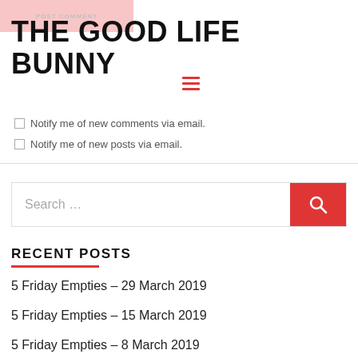POST COMMENT
THE GOOD LIFE BUNNY
Notify me of new comments via email.
Notify me of new posts via email.
RECENT POSTS
5 Friday Empties – 29 March 2019
5 Friday Empties – 15 March 2019
5 Friday Empties – 8 March 2019